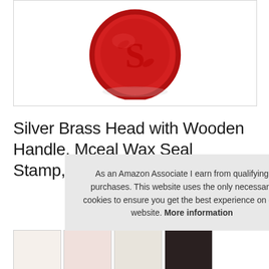[Figure (photo): Red wax seal stamp impression showing decorative letter S with ornamental design, circular shape on white background]
Silver Brass Head with Wooden Handle, Mceal Wax Seal Stamp, Regal Letter S
#ad
As an Amazon Associate I earn from qualifying purchases. This website uses the only necessary cookies to ensure you get the best experience on our website. More information